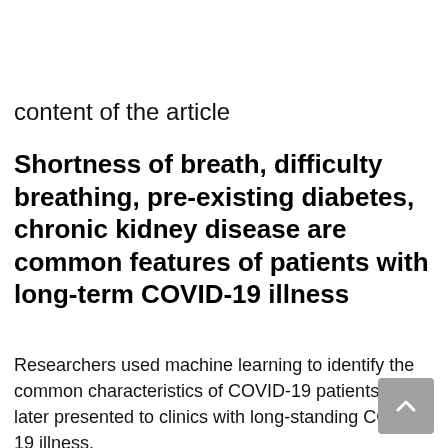content of the article
Shortness of breath, difficulty breathing, pre-existing diabetes, chronic kidney disease are common features of patients with long-term COVID-19 illness
Researchers used machine learning to identify the common characteristics of COVID-19 patients who later presented to clinics with long-standing COVID-19 illness.